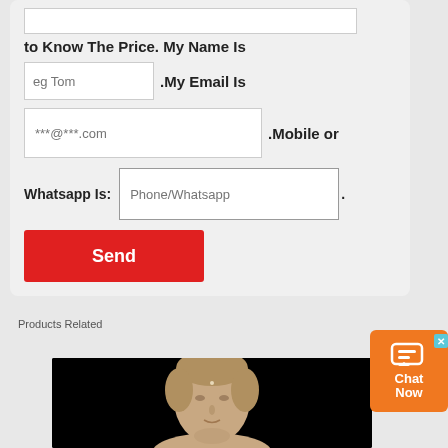to Know The Price. My Name Is
eg Tom .My Email Is
***@***.com .Mobile or
Whatsapp Is: Phone/Whatsapp .
Send
Products Related
[Figure (photo): A classical marble bust sculpture of a woman against a black background]